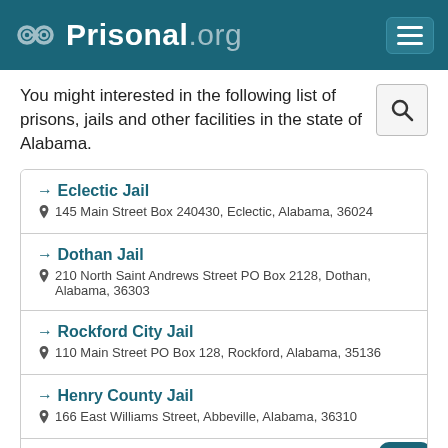Prisonal.org
You might interested in the following list of prisons, jails and other facilities in the state of Alabama.
Eclectic Jail — 145 Main Street Box 240430, Eclectic, Alabama, 36024
Dothan Jail — 210 North Saint Andrews Street PO Box 2128, Dothan, Alabama, 36303
Rockford City Jail — 110 Main Street PO Box 128, Rockford, Alabama, 35136
Henry County Jail — 166 East Williams Street, Abbeville, Alabama, 36310
Triana Jail — 640 6th Street, Triana, Alabama, 35756